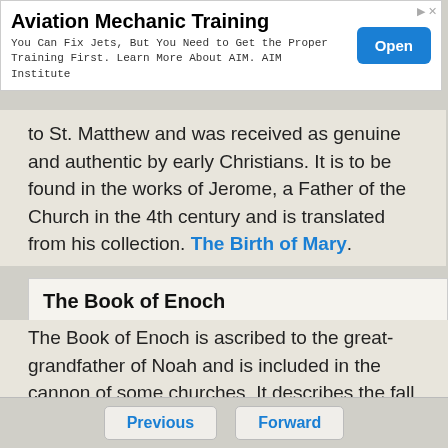[Figure (other): Advertisement banner for Aviation Mechanic Training with an 'Open' button]
to St. Matthew and was received as genuine and authentic by early Christians. It is to be found in the works of Jerome, a Father of the Church in the 4th century and is translated from his collection. The Birth of Mary.
The Book of Enoch
The Book of Enoch is ascribed to the great-grandfather of Noah and is included in the cannon of some churches. It describes the fall of the angels (watchers), visions of heaven and hell and the birth of Noah. Quotes from the book of Enoch are found in the New Testament
Previous   Forward